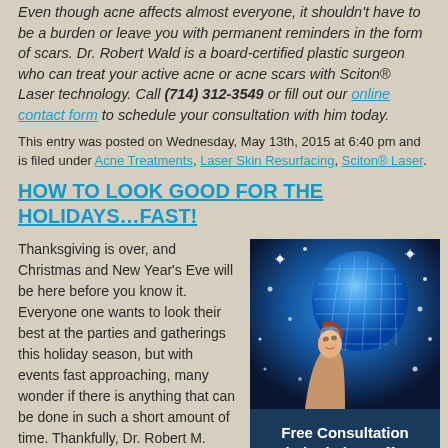Even though acne affects almost everyone, it shouldn't have to be a burden or leave you with permanent reminders in the form of scars. Dr. Robert Wald is a board-certified plastic surgeon who can treat your active acne or acne scars with Sciton® Laser technology. Call (714) 312-3549 or fill out our online contact form to schedule your consultation with him today.
This entry was posted on Wednesday, May 13th, 2015 at 6:40 pm and is filed under Acne Treatments, Laser Skin Resurfacing, Sciton® Laser.
HOW TO LOOK GOOD FOR THE HOLIDAYS…FAST!
Thanksgiving is over, and Christmas and New Year's Eve will be here before you know it. Everyone one wants to look their best at the parties and gatherings this holiday season, but with events fast approaching, many wonder if there is anything that can be done in such a short amount of time. Thankfully, Dr. Robert M.
[Figure (photo): Woman looking up at glowing blue disco ball with sparkles and lights, holiday party theme]
Free Consultation Limited Time Offer!